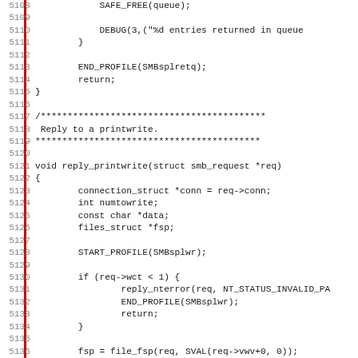[Figure (other): Source code listing in monospace font with line numbers 5108-5139, showing C code for SMB reply functions including reply_printwrite]